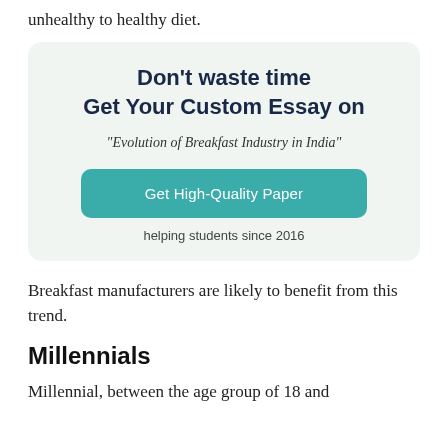unhealthy to healthy diet.
[Figure (infographic): Promotional card with dark teal background and rounded corners. Title: 'Don't waste time Get Your Custom Essay on'. Subtitle: '"Evolution of Breakfast Industry in India"'. Button: 'Get High-Quality Paper'. Helper text: 'helping students since 2016'.]
Breakfast manufacturers are likely to benefit from this trend.
Millennials
Millennial, between the age group of 18 and